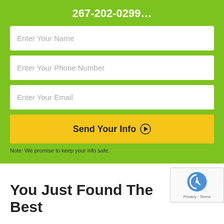267-202-0299…
Enter Your Name
Enter Your Phone Number
Enter Your Email
Send Your Info ▶
Note: We promise to keep your info safe.
[Figure (logo): reCAPTCHA badge with Google reCAPTCHA logo and Privacy · Terms text]
You Just Found The Best